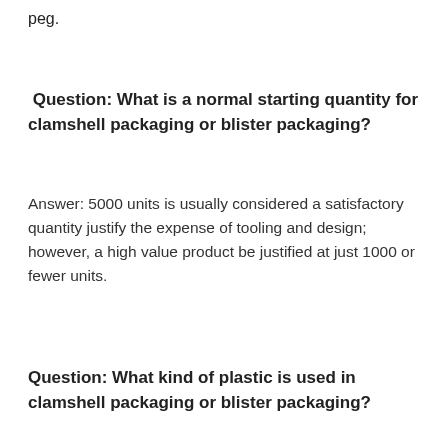peg.
Question: What is a normal starting quantity for clamshell packaging or blister packaging?
Answer: 5000 units is usually considered a satisfactory quantity justify the expense of tooling and design; however, a high value product be justified at just 1000 or fewer units.
Question: What kind of plastic is used in clamshell packaging or blister packaging?